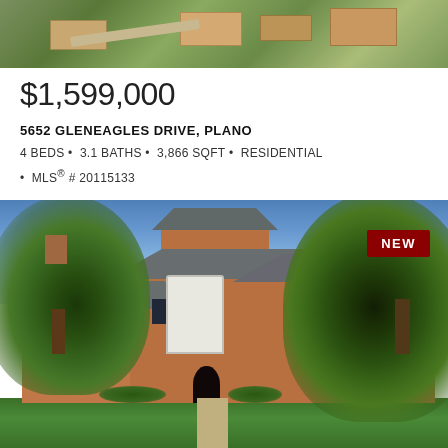[Figure (photo): Aerial view of residential neighborhood with green lawns and houses]
$1,599,000
5652 GLENEAGLES DRIVE, PLANO
4 BEDS • 3.1 BATHS • 3,866 SQFT • RESIDENTIAL
• MLS® # 20115133
[Figure (photo): Front exterior photo of a large brick two-story residential home with large trees, green lawn, bay windows, arched front door, and a NEW badge in the top right corner]